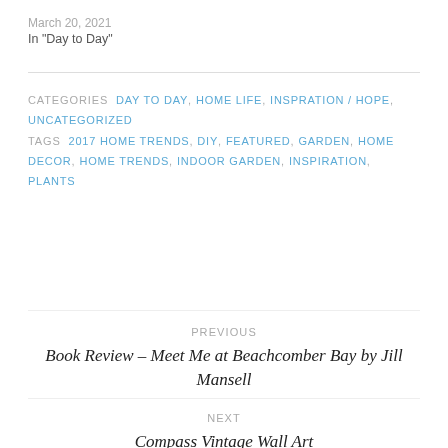March 20, 2021
In "Day to Day"
CATEGORIES  DAY TO DAY, HOME LIFE, INSPRATION / HOPE, UNCATEGORIZED
TAGS  2017 HOME TRENDS, DIY, FEATURED, GARDEN, HOME DECOR, HOME TRENDS, INDOOR GARDEN, INSPIRATION, PLANTS
PREVIOUS
Book Review – Meet Me at Beachcomber Bay by Jill Mansell
NEXT
Compass Vintage Wall Art